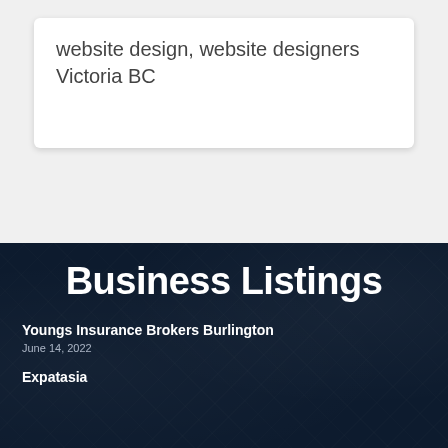website design, website designers Victoria BC
Business Listings
Youngs Insurance Brokers Burlington
June 14, 2022
Expatasia